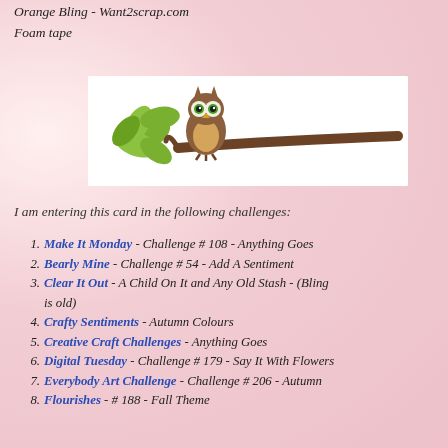Orange Bling - Want2scrap.com
Foam tape
[Figure (illustration): Cartoon owl sitting on a brown branch with green leaves on a white background]
I am entering this card in the following challenges:
1. Make It Monday - Challenge # 108 - Anything Goes
2. Bearly Mine - Challenge # 54 - Add A Sentiment
3. Clear It Out - A Child On It and Any Old Stash - (Bling is old)
4. Crafty Sentiments - Autumn Colours
5. Creative Craft Challenges - Anything Goes
6. Digital Tuesday - Challenge # 179 - Say It With Flowers
7. Everybody Art Challenge - Challenge # 206 - Autumn
8. Flourishes - # 188 - Fall Theme